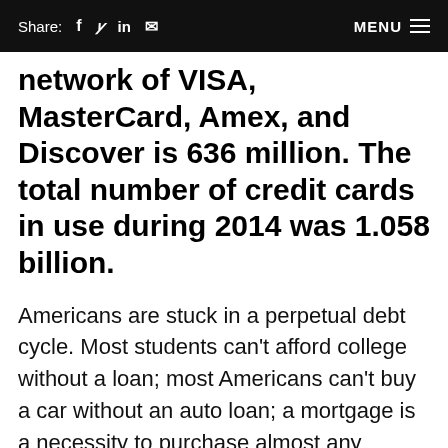Share: f  in [mail] MENU
network of VISA, MasterCard, Amex, and Discover is 636 million. The total number of credit cards in use during 2014 was 1.058 billion.
Americans are stuck in a perpetual debt cycle. Most students can't afford college without a loan; most Americans can't buy a car without an auto loan; a mortgage is a necessity to purchase almost any house; and the use of credit cards is